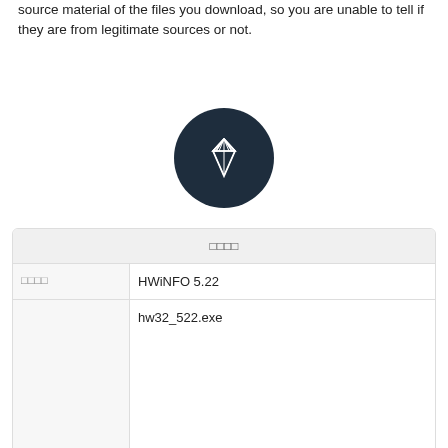source material of the files you download, so you are unable to tell if they are from legitimate sources or not.
[Figure (illustration): Dark navy circle icon containing a white diamond (gem) outline symbol]
| □□□□ |
| --- |
| □□□□ | HWiNFO 5.22 |
|  | hw32_522.exe |
| □□□□ |  |